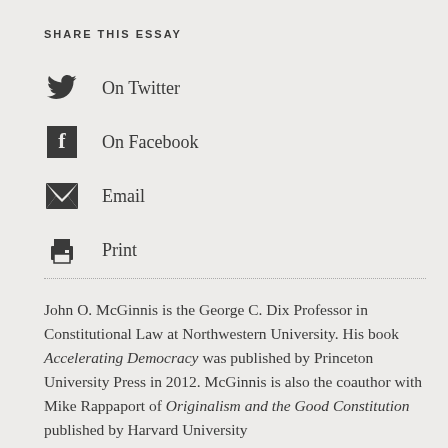SHARE THIS ESSAY
On Twitter
On Facebook
Email
Print
John O. McGinnis is the George C. Dix Professor in Constitutional Law at Northwestern University. His book Accelerating Democracy was published by Princeton University Press in 2012. McGinnis is also the coauthor with Mike Rappaport of Originalism and the Good Constitution published by Harvard University